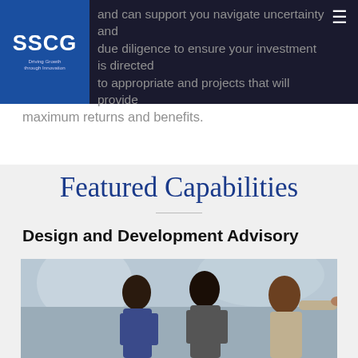SSCG | Driving Growth through Innovation
and can support you navigate uncertainty and due diligence to ensure your investment is directed to appropriate and projects that will provide maximum returns and benefits.
Featured Capabilities
Design and Development Advisory
[Figure (photo): Two businessmen in suits looking upward, one pointing to the right, outdoors with blurred background]